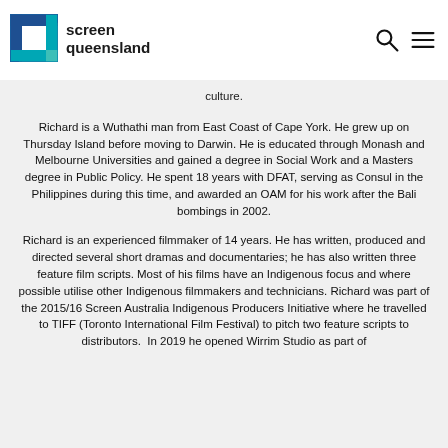Screen Queensland logo with search and menu icons
culture.
Richard is a Wuthathi man from East Coast of Cape York. He grew up on Thursday Island before moving to Darwin. He is educated through Monash and Melbourne Universities and gained a degree in Social Work and a Masters degree in Public Policy. He spent 18 years with DFAT, serving as Consul in the Philippines during this time, and awarded an OAM for his work after the Bali bombings in 2002.
Richard is an experienced filmmaker of 14 years. He has written, produced and directed several short dramas and documentaries; he has also written three feature film scripts. Most of his films have an Indigenous focus and where possible utilise other Indigenous filmmakers and technicians. Richard was part of the 2015/16 Screen Australia Indigenous Producers Initiative where he travelled to TIFF (Toronto International Film Festival) to pitch two feature scripts to distributors. In 2019 he opened Wirrim Studio as part of